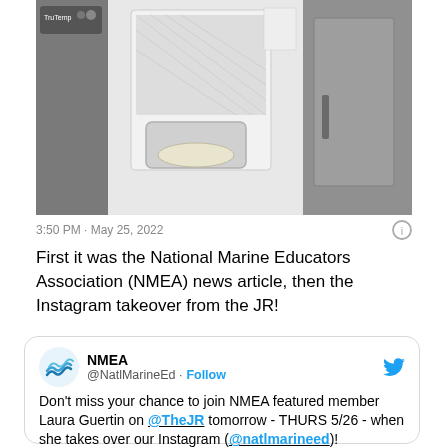[Figure (photo): Photo of kitchen/lab appliances including what appears to be a sink or water dispenser unit with a tray, flanked by steel appliances]
3:50 PM · May 25, 2022
First it was the National Marine Educators Association (NMEA) news article, then the Instagram takeover from the JR!
NMEA @NatlMarineEd · Follow
Don't miss your chance to join NMEA featured member Laura Guertin on @TheJR tomorrow - THURS 5/26 - when she takes over our Instagram (@natlmarineed)!